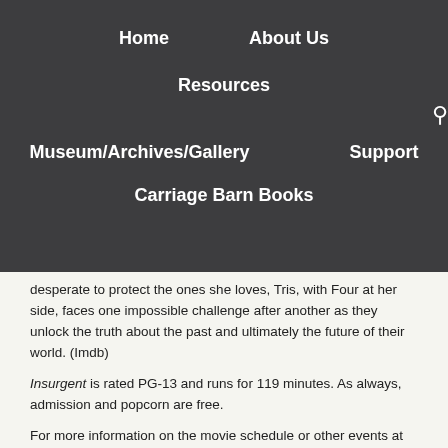Home | About Us | Resources | Museum/Archives/Gallery | Support | Carriage Barn Books
desperate to protect the ones she loves, Tris, with Four at her side, faces one impossible challenge after another as they unlock the truth about the past and ultimately the future of their world. (Imdb)
Insurgent is rated PG-13 and runs for 119 minutes. As always, admission and popcorn are free.
For more information on the movie schedule or other events at the Cazenovia Public Library, call 655-9322 or visit the Library's Facebook page or website at www.cazenoviapubliclibrary.org.